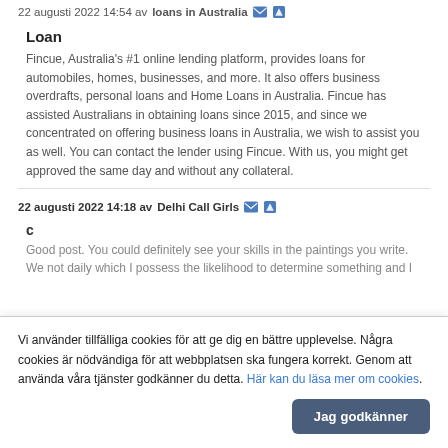22 augusti 2022 14:54 av loans in Australia
Loan
Fincue, Australia's #1 online lending platform, provides loans for automobiles, homes, businesses, and more. It also offers business overdrafts, personal loans and Home Loans in Australia. Fincue has assisted Australians in obtaining loans since 2015, and since we concentrated on offering business loans in Australia, we wish to assist you as well. You can contact the lender using Fincue. With us, you might get approved the same day and without any collateral.
22 augusti 2022 14:18 av Delhi Call Girls
c
Good post. You could definitely see your skills in the paintings you write. We not daily which I possess the likelihood to determine something and I
Vi använder tillfälliga cookies för att ge dig en bättre upplevelse. Några cookies är nödvändiga för att webbplatsen ska fungera korrekt. Genom att använda våra tjänster godkänner du detta. Här kan du läsa mer om cookies.